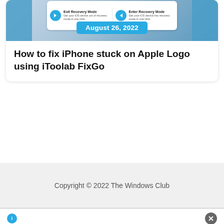[Figure (screenshot): Screenshot of a software UI card showing Exit Recovery Mode and Enter Recovery Mode options with blue icons, overlaid with a date badge reading August 26, 2022, flanked by blue side bars]
How to fix iPhone stuck on Apple Logo using iToolab FixGo
Copyright © 2022 The Windows Club